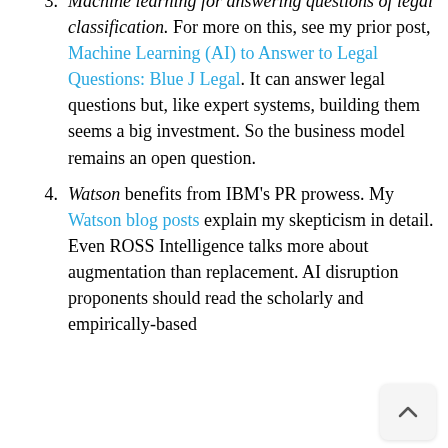3. Machine learning for answering questions of legal classification. For more on this, see my prior post, Machine Learning (AI) to Answer to Legal Questions: Blue J Legal. It can answer legal questions but, like expert systems, building them seems a big investment. So the business model remains an open question.
4. Watson benefits from IBM’s PR prowess. My Watson blog posts explain my skepticism in detail. Even ROSS Intelligence talks more about augmentation than replacement. AI disruption proponents should read the scholarly and empirically-based